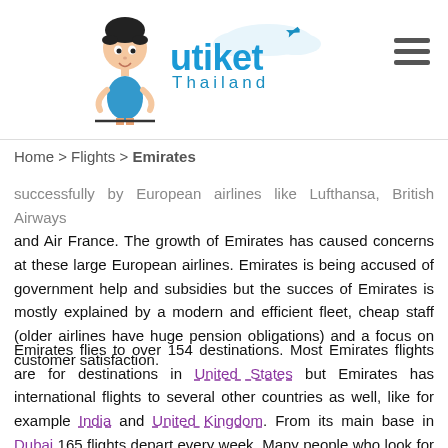utiket Thailand
Home > Flights > Emirates
successfully by European airlines like Lufthansa, British Airways and Air France. The growth of Emirates has caused concerns at these large European airlines. Emirates is being accused of government help and subsidies but the succes of Emirates is mostly explained by a modern and efficient fleet, cheap staff (older airlines have huge pension obligations) and a focus on customer satisfaction.
Emirates flies to over 154 destinations. Most Emirates flights are for destinations in United States but Emirates has international flights to several other countries as well, like for example India and United Kingdom. From its main base in Dubai 165 flights depart every week. Many people who look for Emirates tickets look for flights to London and Bangalore.